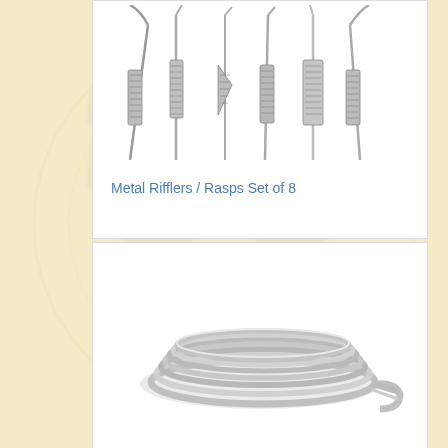[Figure (photo): Photo of a set of 8 metal rifflers/rasps tools, showing various curved and straight metal filing tools with textured grip areas]
Metal Rifflers / Rasps Set of 8
[Figure (photo): Photo of a coiled flat metal strip/band, silver in color, shown as a coil viewed from an angle]